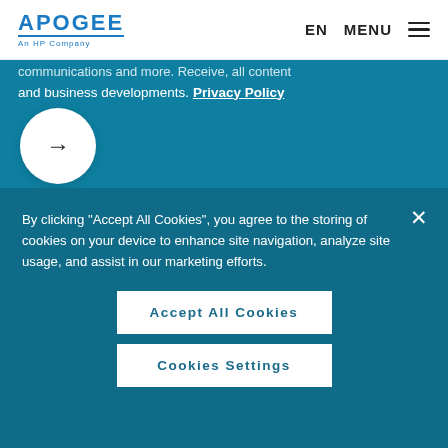APOGEE An HP Company | EN | MENU
communications and more. Receive, all content and business developments. Privacy Policy
[Figure (other): White circular arrow button pointing right]
By clicking “Accept All Cookies”, you agree to the storing of cookies on your device to enhance site navigation, analyze site usage, and assist in our marketing efforts.
Accept All Cookies
Cookies Settings